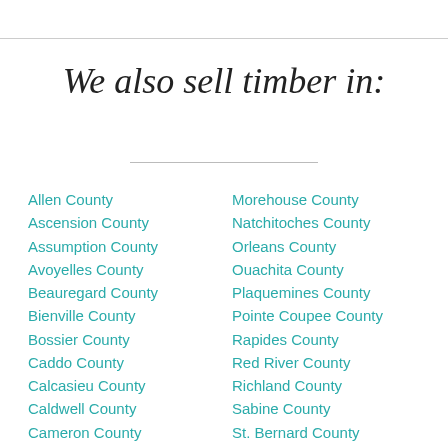We also sell timber in:
Allen County
Ascension County
Assumption County
Avoyelles County
Beauregard County
Bienville County
Bossier County
Caddo County
Calcasieu County
Caldwell County
Cameron County
Morehouse County
Natchitoches County
Orleans County
Ouachita County
Plaquemines County
Pointe Coupee County
Rapides County
Red River County
Richland County
Sabine County
St. Bernard County